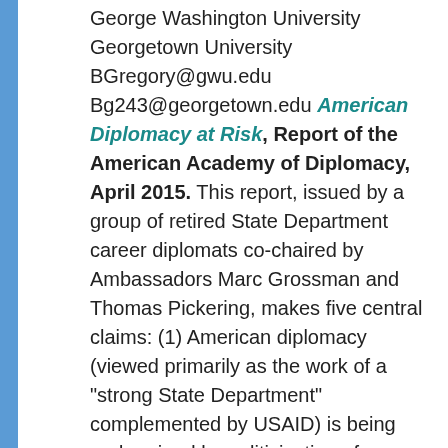George Washington University
Georgetown University
BGregory@gwu.edu
Bg243@georgetown.edu American Diplomacy at Risk, Report of the American Academy of Diplomacy, April 2015.  This report, issued by a group of retired State Department career diplomats co-chaired by Ambassadors Marc Grossman and Thomas Pickering, makes five central claims:  (1) American diplomacy (viewed primarily as the work of a "strong State Department" complemented by USAID) is being undermined by politicization of policies and appointments and State management's efforts to "nullify" the Foreign Service Act of 1980; (2) the State Department is seeking to "break down all